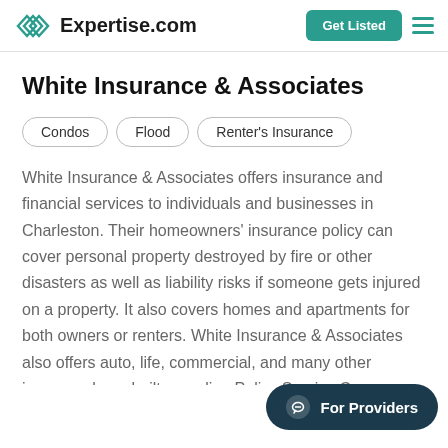Expertise.com
White Insurance & Associates
Condos
Flood
Renter's Insurance
White Insurance & Associates offers insurance and financial services to individuals and businesses in Charleston. Their homeowners' insurance policy can cover personal property destroyed by fire or other disasters as well as liability risks if someone gets injured on a property. It also covers homes and apartments for both owners or renters. White Insurance & Associates also offers auto, life, commercial, and many other insuran... have built an online Policy Service Cen...